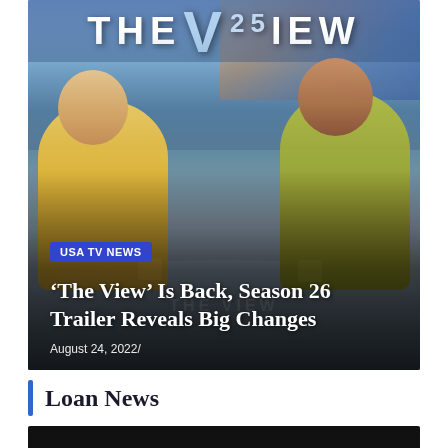[Figure (photo): Screenshot from The View TV show Season 26, showing two female hosts seated at a curved desk wearing yellow/green outfits. The View 25th anniversary logo is visible in the background against a city skyline. Overlaid text shows 'USA TV NEWS' badge, article title, and date.]
USA TV NEWS
‘The View’ Is Back, Season 26 Trailer Reveals Big Changes
August 24, 2022/
Loan News
[Figure (photo): Partial view of a second article image (bottom stub), dark/black background, content cut off.]